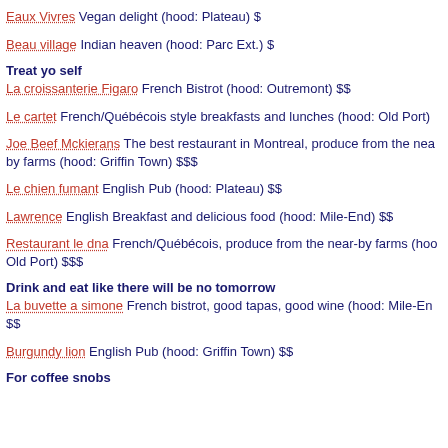Eaux Vivres Vegan delight (hood: Plateau) $
Beau village Indian heaven (hood: Parc Ext.) $
Treat yo self
La croissanterie Figaro French Bistrot (hood: Outremont) $$
Le cartet French/Québécois style breakfasts and lunches (hood: Old Port)
Joe Beef Mckierans The best restaurant in Montreal, produce from the near-by farms (hood: Griffin Town) $$$
Le chien fumant English Pub (hood: Plateau) $$
Lawrence English Breakfast and delicious food (hood: Mile-End) $$
Restaurant le dna French/Québécois, produce from the near-by farms (hood: Old Port) $$$
Drink and eat like there will be no tomorrow
La buvette a simone French bistrot, good tapas, good wine (hood: Mile-End) $$
Burgundy lion English Pub (hood: Griffin Town) $$
For coffee snobs